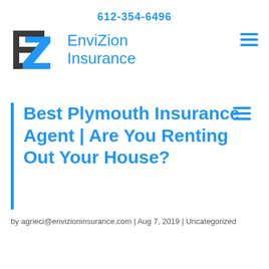612-354-6496
[Figure (logo): EnviZion Insurance logo with EZ lettermark in dark gray/blue and company name in blue text]
Best Plymouth Insurance Agent | Are You Renting Out Your House?
by agrieci@envizioninsurance.com | Aug 7, 2019 | Uncategorized